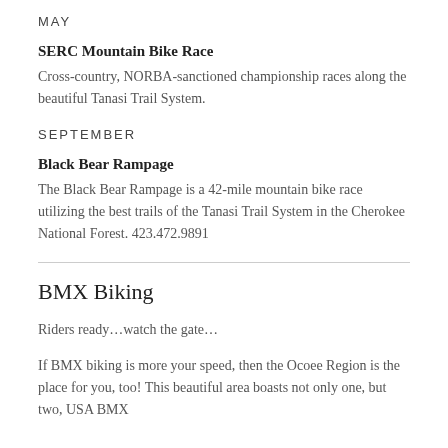MAY
SERC Mountain Bike Race
Cross-country, NORBA-sanctioned championship races along the beautiful Tanasi Trail System.
SEPTEMBER
Black Bear Rampage
The Black Bear Rampage is a 42-mile mountain bike race utilizing the best trails of the Tanasi Trail System in the Cherokee National Forest. 423.472.9891
BMX Biking
Riders ready…watch the gate…
If BMX biking is more your speed, then the Ocoee Region is the place for you, too! This beautiful area boasts not only one, but two, USA BMX